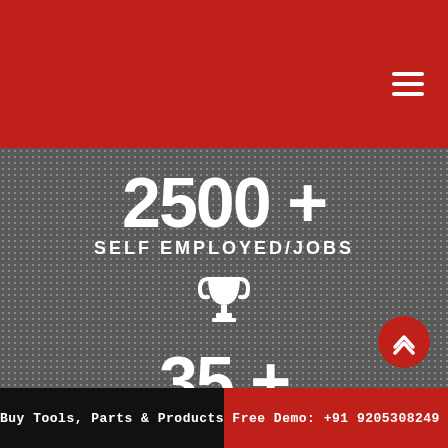[Figure (screenshot): Red header navigation bar with hamburger menu icon]
2500 +
SELF EMPLOYED/JOBS
[Figure (illustration): Trophy icon in white]
35 +
FACULTY & STAFF
Buy Tools, Parts & Products   Free Demo: +91 9205308249